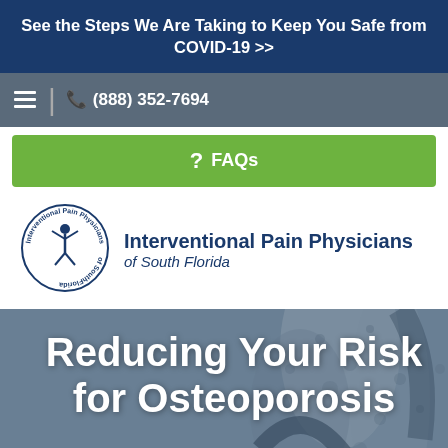See the Steps We Are Taking to Keep You Safe from COVID-19 >>
(888) 352-7694
? FAQs
[Figure (logo): Interventional Pain Physicians of South Florida circular logo with stylized human figure]
Interventional Pain Physicians of South Florida
Reducing Your Risk for Osteoporosis